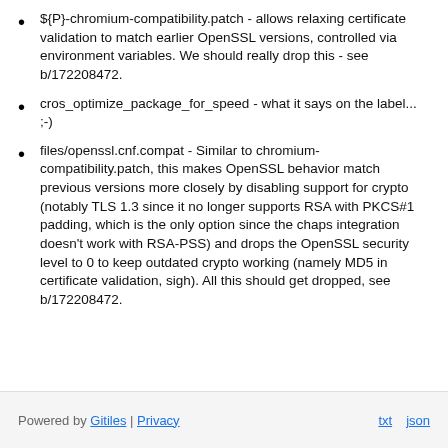${P}-chromium-compatibility.patch - allows relaxing certificate validation to match earlier OpenSSL versions, controlled via environment variables. We should really drop this - see b/172208472.
cros_optimize_package_for_speed - what it says on the label... ;-)
files/openssl.cnf.compat - Similar to chromium-compatibility.patch, this makes OpenSSL behavior match previous versions more closely by disabling support for crypto (notably TLS 1.3 since it no longer supports RSA with PKCS#1 padding, which is the only option since the chaps integration doesn't work with RSA-PSS) and drops the OpenSSL security level to 0 to keep outdated crypto working (namely MD5 in certificate validation, sigh). All this should get dropped, see b/172208472.
Powered by Gitiles | Privacy  txt  json